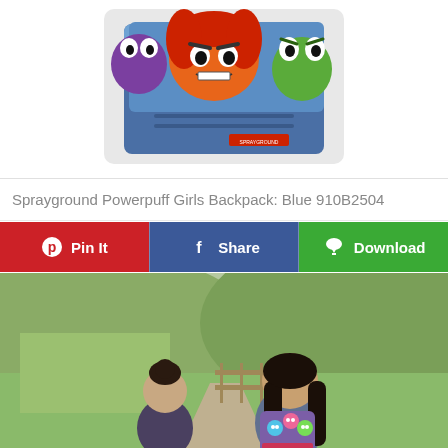[Figure (photo): Product photo of a Sprayground Powerpuff Girls Backpack (Blue 910B2504) featuring cartoon villain characters on a blue background with Sprayground branding label.]
Sprayground Powerpuff Girls Backpack: Blue 910B2504
[Figure (other): Social sharing button row with three buttons: Pin It (red/Pinterest), Share (blue/Facebook), Download (green).]
[Figure (photo): Outdoor photo of two children seen from behind, one wearing a colorful Powerpuff Girls backpack, standing on a path surrounded by greenery.]